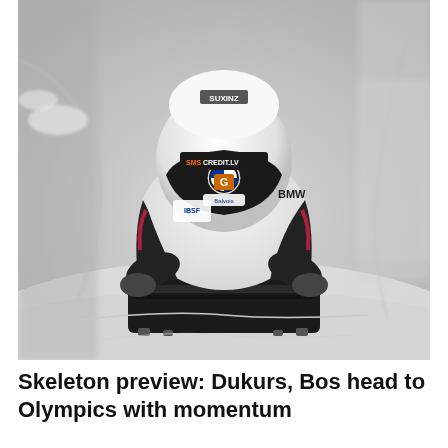[Figure (photo): A skeleton athlete in a black and white racing suit with BMW and SMS CREDIT.LV helmet branding, lying face down on a black skeleton sled on an icy track, racing toward the camera. The athlete wears a white helmet with sponsor logos including SMS CREDIT.LV, G, and Balvois. The suit has IBSF and BMW logos. The background shows a snow/ice track with blurred barriers.]
Skeleton preview: Dukurs, Bos head to Olympics with momentum